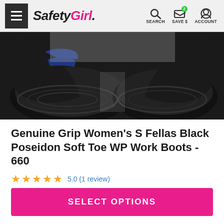SafetyGirl — SEARCH SAVE $ ACCOUNT
[Figure (photo): Close-up bottom/sole view of black work boots with blue accent on dark background]
Genuine Grip Women's S Fellas Black Poseidon Soft Toe WP Work Boots - 660
5.0 (1 review)
$97.00
SELECT OPTIONS